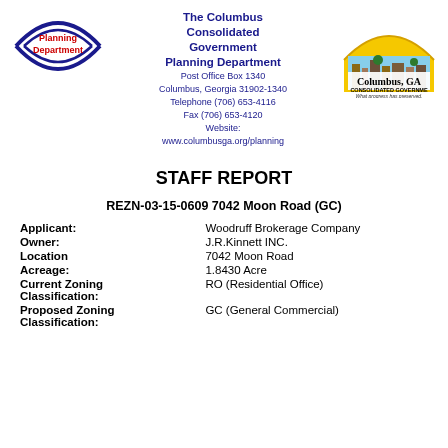[Figure (logo): Planning Department logo - blue oval arc with red bold text 'Planning Department' inside]
The Columbus Consolidated Government Planning Department
Post Office Box 1340
Columbus, Georgia 31902-1340
Telephone (706) 653-4116
Fax (706) 653-4120
Website: www.columbusga.org/planning
[Figure (logo): Columbus, GA Consolidated Government logo - yellow arch over city scene with text 'Columbus, GA' and 'CONSOLIDATED GOVERNMENT - What progress has preserved.']
STAFF REPORT
REZN-03-15-0609 7042 Moon Road (GC)
| Applicant: | Woodruff Brokerage Company |
| Owner: | J.R.Kinnett INC. |
| Location | 7042 Moon Road |
| Acreage: | 1.8430 Acre |
| Current Zoning Classification: | RO (Residential Office) |
| Proposed Zoning Classification: | GC (General Commercial) |